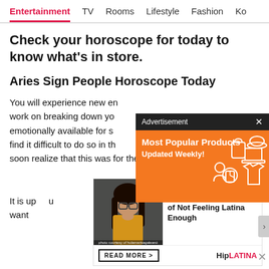Entertainment | TV | Rooms | Lifestyle | Fashion | Ko
Check your horoscope for today to know what's in store.
Aries Sign People Horoscope Today
You will experience new en... work on breaking down yo... emotionally available for s... find it difficult to do so in th... soon realize that this was for the best as your
[Figure (other): Advertisement overlay with orange background showing 'Most Popular Products Updated Weekly!' with icons of various products]
[Figure (other): Promo card showing a Latina woman with glasses and text: CULTURE - The First Gen Struggles of Not Feeling Latina Enough - READ MORE > - HipLATINA]
It is up... u want...